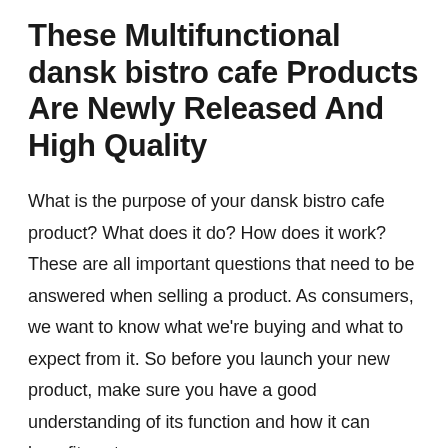These Multifunctional dansk bistro cafe Products Are Newly Released And High Quality
What is the purpose of your dansk bistro cafe product? What does it do? How does it work? These are all important questions that need to be answered when selling a product. As consumers, we want to know what we're buying and what to expect from it. So before you launch your new product, make sure you have a good understanding of its function and how it can benefit customers.